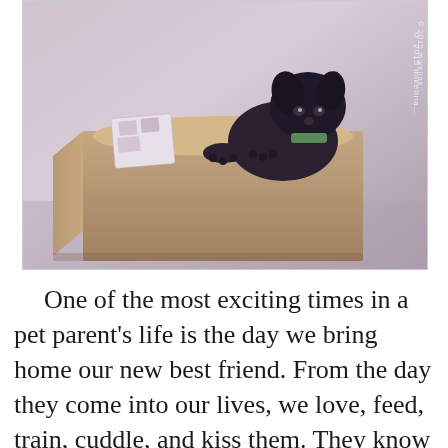[Figure (photo): A small black dog sitting inside a cardboard box with some papers/items inside, photographed with a purple/lavender tinted filter. Watermark reads '© 2015 mikelina...' along the right side.]
One of the most exciting times in a pet parent's life is the day we bring home our new best friend. From the day they come into our lives, we love, feed, train, cuddle, and kiss them. They know our deepest secrets and give us unconditional love. We carry their pictures, post them Facebook, and talk about them like any proud parent. Our pets are happier than anyone else when we come home at the end of the day. Dogs and cats don't question us, they never stay angry, and trust us 100%. They are very nearly perfect.